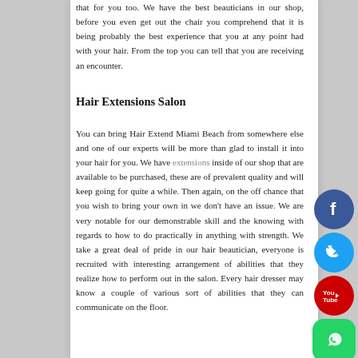that for you too. We have the best beauticians in our shop, before you even get out the chair you comprehend that it is being probably the best experience that you at any point had with your hair. From the top you can tell that you are receiving an encounter.
Hair Extensions Salon
You can bring Hair Extend Miami Beach from somewhere else and one of our experts will be more than glad to install it into your hair for you. We have extensions inside of our shop that are available to be purchased, these are of prevalent quality and will keep going for quite a while. Then again, on the off chance that you wish to bring your own in we don't have an issue. We are very notable for our demonstrable skill and the knowing with regards to how to do practically in anything with strength. We take a great deal of pride in our hair beautician, everyone is recruited with interesting arrangement of abilities that they realize how to perform out in the salon. Every hair dresser may know a couple of various sort of abilities that they can communicate on the floor.
[Figure (illustration): Social media icons on the right side: Facebook (blue circle), Twitter (light blue circle), YouTube (red circle), WhatsApp (green rounded square)]